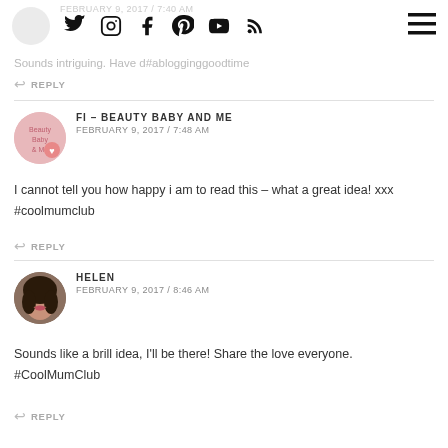FEBRUARY 9, 2017 / 7:40 AM [social icons] [menu]
Sounds intriguing. Have d#ablogginggoodtime
↩ REPLY
FI - BEAUTY BABY AND ME
FEBRUARY 9, 2017 / 7:48 AM
I cannot tell you how happy i am to read this – what a great idea! xxx #coolmumclub
↩ REPLY
HELEN
FEBRUARY 9, 2017 / 8:46 AM
Sounds like a brill idea, I'll be there! Share the love everyone. #CoolMumClub
↩ REPLY